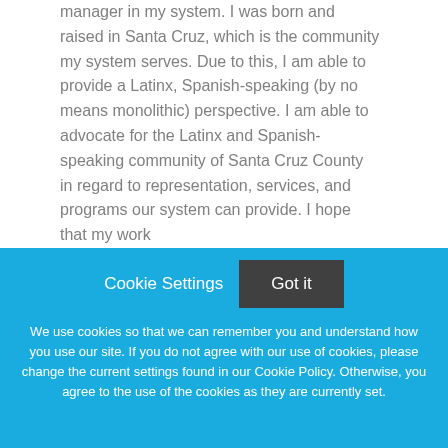manager in my system. I was born and raised in Santa Cruz, which is the community my system serves. Due to this, I am able to provide a Latinx, Spanish-speaking (by no means monolithic) perspective. I am able to advocate for the Latinx and Spanish-speaking community of Santa Cruz County in regard to representation, services, and programs our system can provide. I hope that my work
Cookie Settings
Got it
We use cookies so that we can remember you and understand how you use our site. If you do not agree with our use of cookies, please change the current settings found in our Cookie Policy. Otherwise, you agree to the use of the cookies as they are currently set.